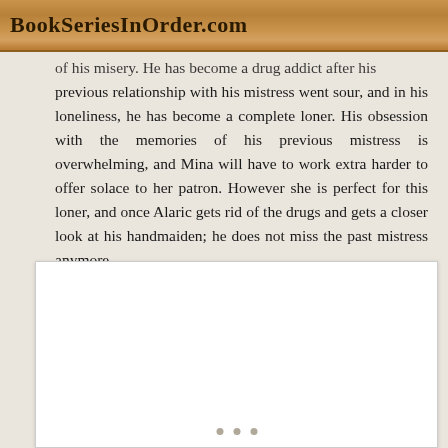BookSeriesInOrder.com
of his misery. He has become a drug addict after his previous relationship with his mistress went sour, and in his loneliness, he has become a complete loner. His obsession with the memories of his previous mistress is overwhelming, and Mina will have to work extra harder to offer solace to her patron. However she is perfect for this loner, and once Alaric gets rid of the drugs and gets a closer look at his handmaiden; he does not miss the past mistress anymore.
[Figure (other): White image placeholder with three dots at the bottom indicating loading or continuation]